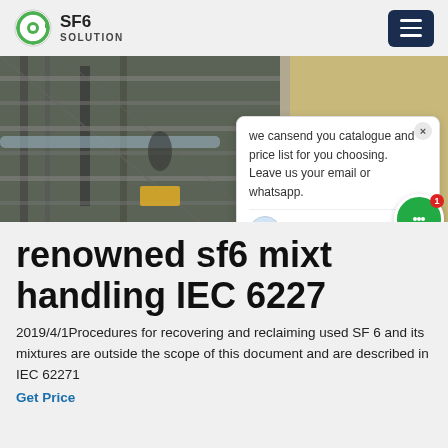SF6 SOLUTION
[Figure (photo): Aerial or elevated view of industrial SF6 electrical equipment installation, showing metal scaffolding, pipes, and machinery. Partially covered by a chat popup overlay.]
renowned sf6 mixt handling IEC 6227
2019/4/1Procedures for recovering and reclaiming used SF 6 and its mixtures are outside the scope of this document and are described in IEC 62271
Get Price